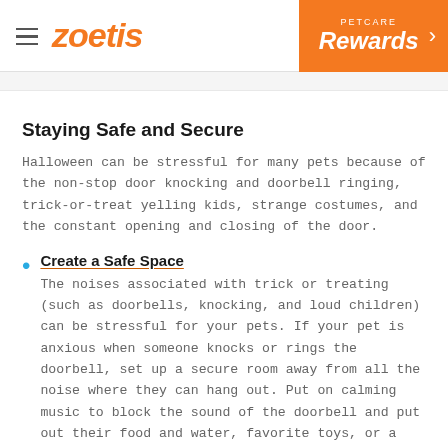zoetis | PETCARE Rewards
Staying Safe and Secure
Halloween can be stressful for many pets because of the non-stop door knocking and doorbell ringing, trick-or-treat yelling kids, strange costumes, and the constant opening and closing of the door.
Create a Safe Space — The noises associated with trick or treating (such as doorbells, knocking, and loud children) can be stressful for your pets. If your pet is anxious when someone knocks or rings the doorbell, set up a secure room away from all the noise where they can hang out. Put on calming music to block the sound of the doorbell and put out their food and water, favorite toys, or a